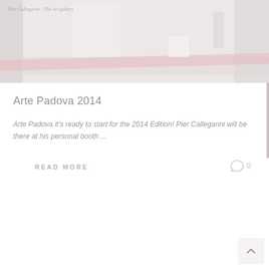[Figure (photo): Faded photograph of an exhibition/gallery booth interior with a pink-striped counter/desk and white display panels in the background]
Arte Padova 2014
Arte Padova it's ready to start for the 2014 Edition! Pier Callegarini will be there at his personal booth ...
READ MORE
0